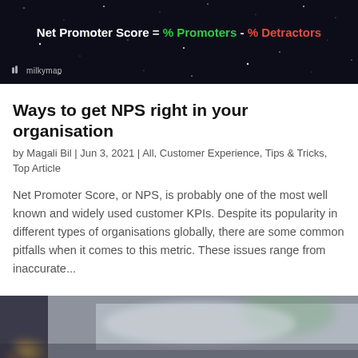[Figure (infographic): Dark space-themed banner showing the NPS formula: Net Promoter Score = % Promoters - % Detractors, with milkymap logo at bottom left]
Ways to get NPS right in your organisation
by Magali Bil | Jun 3, 2021 | All, Customer Experience, Tips & Tricks, Top Article
Net Promoter Score, or NPS, is probably one of the most well known and widely used customer KPIs. Despite its popularity in different types of organisations globally, there are some common pitfalls when it comes to this metric. These issues range from inaccurate...
[Figure (photo): Blurred photo showing a close-up of what appears to be colorful objects on a light surface, partially visible at the bottom of the page]